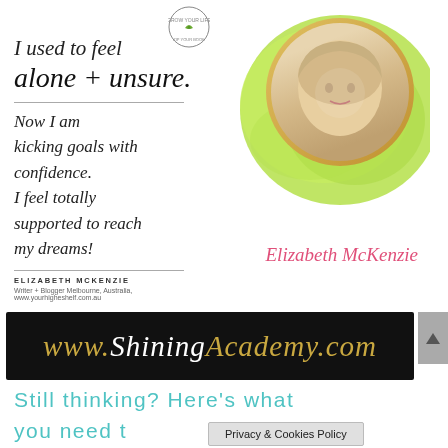[Figure (infographic): Testimonial graphic with green watercolor splash background, circular gold-framed profile photo of a woman, cursive script quote text, and signature. Logo circle at top center.]
I used to feel alone + unsure. Now I am kicking goals with confidence. I feel totally supported to reach my dreams!
Elizabeth McKenzie
Writer + Blogger Melbourne, Australia,
www.yourhigheshelf.com.au
[Figure (infographic): Black banner with gold cursive text reading www.ShiningAcademy.com]
Still thinking? Here's what you need t...
Privacy & Cookies Policy